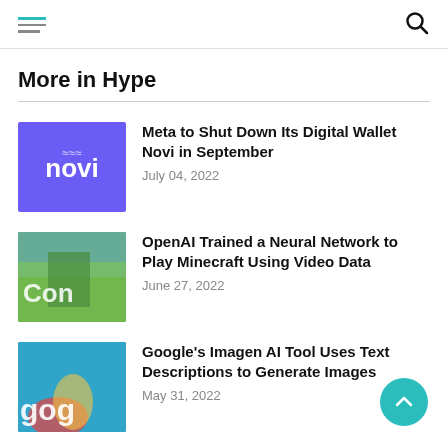[hamburger menu icon] [search icon]
More in Hype
[Figure (logo): Novi digital wallet logo — white text 'novi' with wave symbol on purple/violet background]
Meta to Shut Down Its Digital Wallet Novi in September
July 04, 2022
[Figure (photo): Minecraft character screenshot with green/blue background, overlaid text 'Con']
OpenAI Trained a Neural Network to Play Minecraft Using Video Data
June 27, 2022
[Figure (photo): Google logo partial on blue background with tropical fruit/plant imagery]
Google's Imagen AI Tool Uses Text Descriptions to Generate Images
May 31, 2022